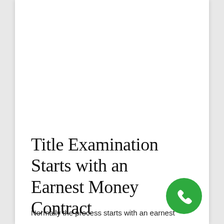Title Examination Starts with an Earnest Money Contract
Normally the process starts with an earnest
[Figure (other): Green circular phone/call icon button in the bottom right corner]